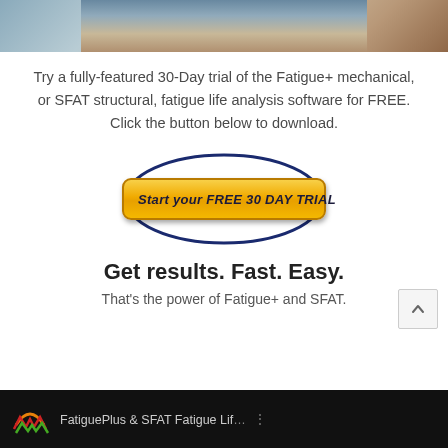[Figure (photo): Partial photo of a person working at a computer, cropped at top edge]
Try a fully-featured 30-Day trial of the Fatigue+ mechanical, or SFAT structural, fatigue life analysis software for FREE. Click the button below to download.
[Figure (other): Call-to-action button with dark blue oval border and orange/yellow button reading 'Start your FREE 30 DAY TRIAL']
Get results. Fast. Easy.
That's the power of Fatigue+ and SFAT.
[Figure (screenshot): Video thumbnail with dark background, FatiguePlus logo icon, and text 'FatiguePlus & SFAT Fatigue Lif...' with menu dots]